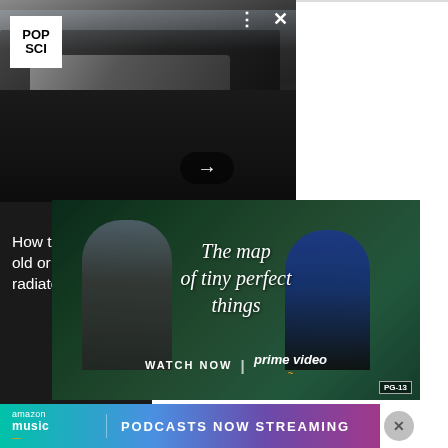[Figure (screenshot): Article card showing a car engine with hood open, from Popular Science website. Shows POP SCI logo, three-dot menu and X close icons, a right arrow navigation button, and dark background with article title.]
How to replace an old or clogged car radiator
[Figure (photo): Amazon Prime Video advertisement for 'The Map of Tiny Perfect Things' — two people walking, cursive handwritten title text, WATCH NOW | prime video branding, PG-13 rating badge.]
What does Colonial Pipelines do?
[Figure (screenshot): Amazon Music banner ad at bottom: 'amazon music PODCASTS NOW STREAMING' on a colorful gradient background with a close (X) button.]